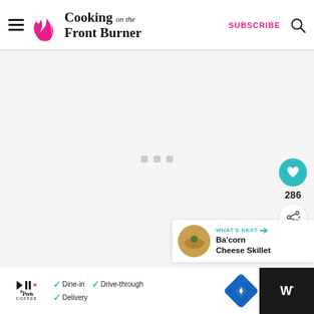Cooking on the Front Burner | SUBSCRIBE
[Figure (other): Main content placeholder area with light gray background and three small gray loading dots in the center]
286
WHAT'S NEXT → Ba'corn Cheese Skillet
[Figure (other): Advertisement bar with Peet's Coffee logo, check marks for Dine-in, Drive-through, Delivery, a blue diamond navigation icon, and a dark W° logo on the right]